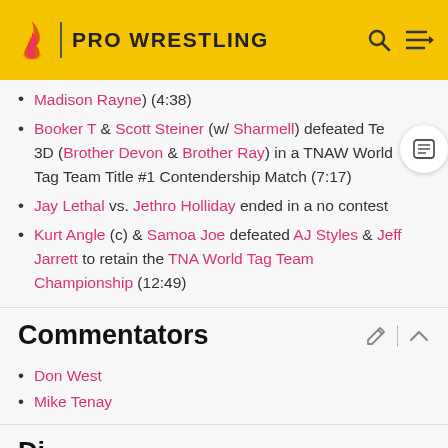PRO WRESTLING
Madison Rayne) (4:38)
Booker T & Scott Steiner (w/ Sharmell) defeated Te… 3D (Brother Devon & Brother Ray) in a TNAW World Tag Team Title #1 Contendership Match (7:17)
Jay Lethal vs. Jethro Holliday ended in a no contest
Kurt Angle (c) & Samoa Joe defeated AJ Styles & Jeff Jarrett to retain the TNA World Tag Team Championship (12:49)
Commentators
Don West
Mike Tenay
Di…